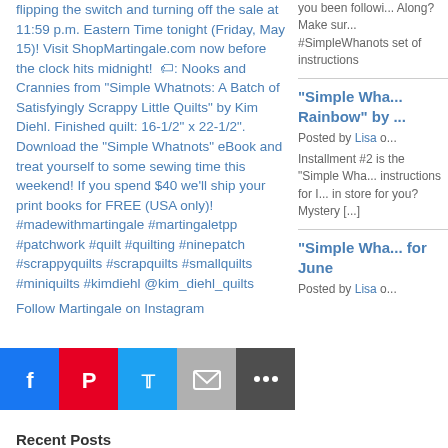flipping the switch and turning off the sale at 11:59 p.m. Eastern Time tonight (Friday, May 15)! Visit ShopMartingale.com now before the clock hits midnight! 🏷: Nooks and Crannies from "Simple Whatnots: A Batch of Satisfyingly Scrappy Little Quilts" by Kim Diehl. Finished quilt: 16-1/2" x 22-1/2". Download the "Simple Whatnots" eBook and treat yourself to some sewing time this weekend! If you spend $40 we'll ship your print books for FREE (USA only)! #madewithmartingale #martingaletpp #patchwork #quilt #quilting #ninepatch #scrappyquilts #scrapquilts #smallquilts #miniquilts #kimdiehl @kim_diehl_quilts
Follow Martingale on Instagram
[Figure (other): Social share buttons: Facebook, Pinterest, Twitter, Email, More]
Recent Posts
you been following along? Make sure #SimpleWhanots set of instructions
"Simple Whatnots Rainbow" by ...
Posted by Lisa o...
Installment #2 is the "Simple Wha... instructions for I... in store for you? Mystery [...]
"Simple Whatnots for June
Posted by Lisa o...